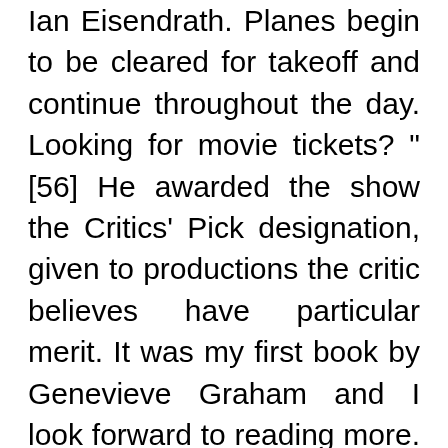Ian Eisendrath. Planes begin to be cleared for takeoff and continue throughout the day. Looking for movie tickets? "[56] He awarded the show the Critics' Pick designation, given to productions the critic believes have particular merit. It was my first book by Genevieve Graham and I look forward to reading more. COME FROM AWAY (NAMT Festival 2013) was originally developed at We know life happens, so if something comes up, you can return or exchange your